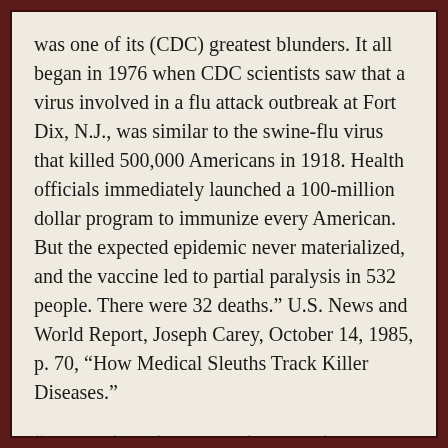was one of its (CDC) greatest blunders. It all began in 1976 when CDC scientists saw that a virus involved in a flu attack outbreak at Fort Dix, N.J., was similar to the swine-flu virus that killed 500,000 Americans in 1918. Health officials immediately launched a 100-million dollar program to immunize every American. But the expected epidemic never materialized, and the vaccine led to partial paralysis in 532 people. There were 32 deaths.” U.S. News and World Report, Joseph Carey, October 14, 1985, p. 70, “How Medical Sleuths Track Killer Diseases.”
“Despite (cases) in which (smallpox) vaccination plainly failed to protect the